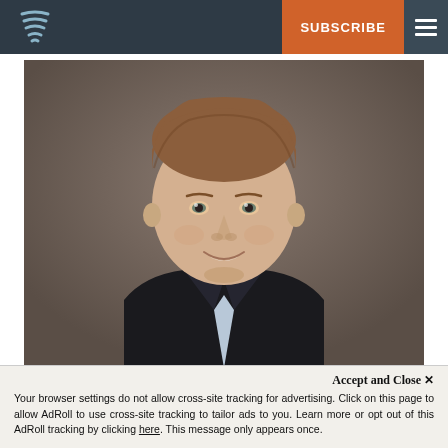SUBSCRIBE
[Figure (photo): Professional headshot of a man in a dark suit with light blue shirt, smiling, against a gray-brown background]
Accept and Close ×
Your browser settings do not allow cross-site tracking for advertising. Click on this page to allow AdRoll to use cross-site tracking to tailor ads to you. Learn more or opt out of this AdRoll tracking by clicking here. This message only appears once.